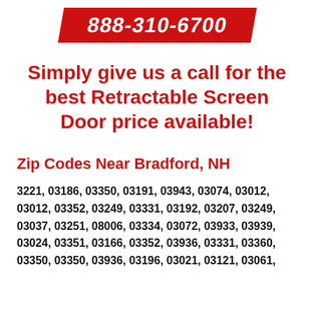[Figure (other): Red parallelogram/badge shape with phone number 888-310-6700 in white bold text, with dark shadow behind]
Simply give us a call for the best Retractable Screen Door price available!
Zip Codes Near Bradford, NH
3221, 03186, 03350, 03191, 03943, 03074, 03012, 03012, 03352, 03249, 03331, 03192, 03207, 03249, 03037, 03251, 08006, 03334, 03072, 03933, 03939, 03024, 03351, 03166, 03352, 03936, 03331, 03360, 03350, 03350, 03936, 03196, 03021, 03121, 03061,